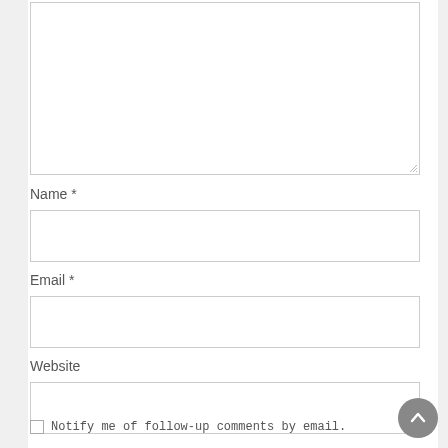[Figure (screenshot): Web form comment section with textarea (top, partially visible), Name field with asterisk, Email field with asterisk, Website field, and a checkbox for notify me of follow-up comments by email. A scroll-to-top circular button is visible at bottom right.]
Name *
Email *
Website
Notify me of follow-up comments by email.